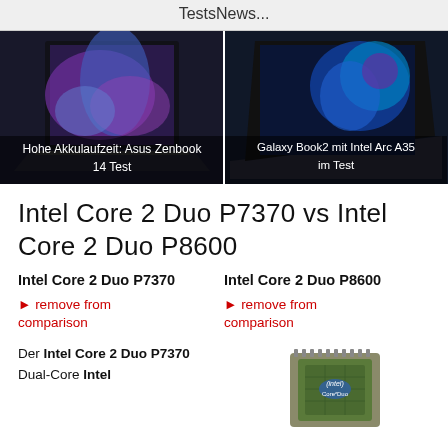Tests    News    ...
[Figure (photo): Laptop with colorful swirl wallpaper (Asus Zenbook 14) with caption 'Hohe Akkulaufzeit: Asus Zenbook 14 Test']
[Figure (photo): Laptop with blue nebula wallpaper (Samsung Galaxy Book2) with caption 'Galaxy Book2 mit Intel Arc A35 im Test']
Intel Core 2 Duo P7370 vs Intel Core 2 Duo P8600
Intel Core 2 Duo P7370
Intel Core 2 Duo P8600
► remove from comparison
► remove from comparison
Der Intel Core 2 Duo P7370
Der Intel Core 2 Duo P8600 Dual-Core Intel
[Figure (photo): Intel Core 2 Duo CPU chip photo]